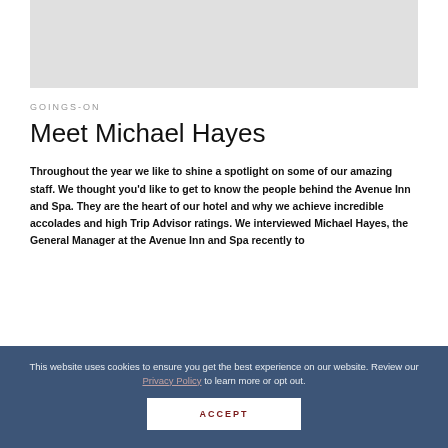[Figure (photo): Gray placeholder image at top of page]
GOINGS-ON
Meet Michael Hayes
Throughout the year we like to shine a spotlight on some of our amazing staff. We thought you'd like to get to know the people behind the Avenue Inn and Spa. They are the heart of our hotel and why we achieve incredible accolades and high Trip Advisor ratings. We interviewed Michael Hayes, the General Manager at the Avenue Inn and Spa recently to
This website uses cookies to ensure you get the best experience on our website. Review our Privacy Policy to learn more or opt out.
ACCEPT